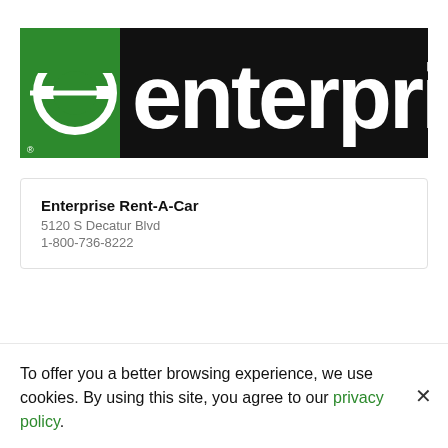[Figure (logo): Enterprise Rent-A-Car logo: green square with white 'e' symbol on left, black rectangle with white 'enterprise' text on right]
Enterprise Rent-A-Car
5120 S Decatur Blvd
1-800-736-8222
To offer you a better browsing experience, we use cookies. By using this site, you agree to our privacy policy.